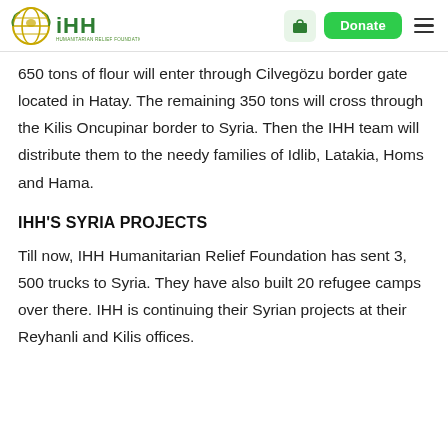IHH Humanitarian Relief Foundation — website header with logo, bag icon, Donate button, and menu icon
650 tons of flour will enter through Cilvegözu border gate located in Hatay. The remaining 350 tons will cross through the Kilis Oncupinar border to Syria. Then the IHH team will distribute them to the needy families of Idlib, Latakia, Homs and Hama.
IHH'S SYRIA PROJECTS
Till now, IHH Humanitarian Relief Foundation has sent 3, 500 trucks to Syria. They have also built 20 refugee camps over there. IHH is continuing their Syrian projects at their Reyhanli and Kilis offices.